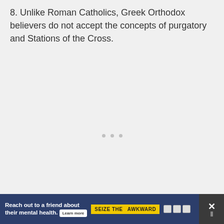8. Unlike Roman Catholics, Greek Orthodox believers do not accept the concepts of purgatory and Stations of the Cross.
[Figure (other): Three small grey dots centered on the page, indicating a loading placeholder or image carousel indicator]
[Figure (infographic): Advertisement banner: 'Reach out to a friend about their mental health. Learn more' with 'SEIZE THE AWKWARD' yellow badge, AD icons, and a close button with X and bar icon on dark background]